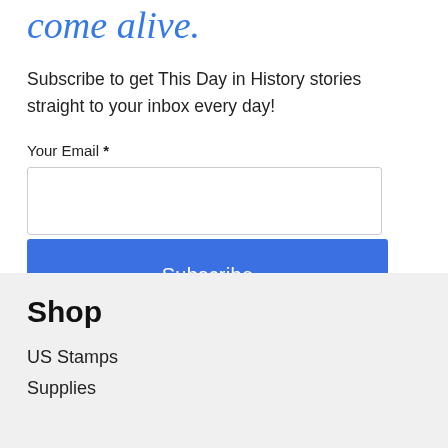come alive.
Subscribe to get This Day in History stories straight to your inbox every day!
Your Email *
Subscribe
Shop
US Stamps
Supplies